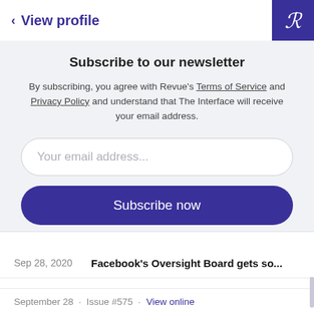< View profile
Subscribe to our newsletter
By subscribing, you agree with Revue's Terms of Service and Privacy Policy and understand that The Interface will receive your email address.
Your email address...
Subscribe now
Sep 28, 2020   Facebook's Oversight Board gets so...
September 28 · Issue #575 · View online